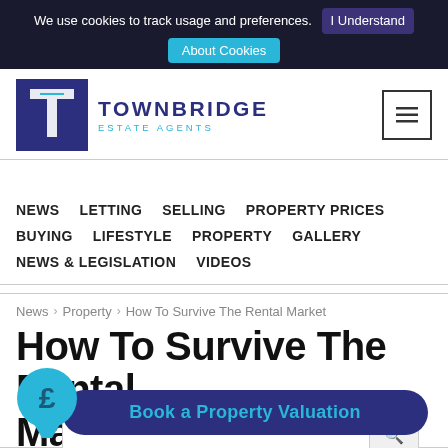We use cookies to track usage and preferences. I Understand About Cookies
[Figure (logo): Townbridge Estate Agents logo — dark blue square with white T letter mark, company name in dark blue uppercase, 'ESTATE AGENTS' in cyan uppercase]
NEWS   LETTING   SELLING   PROPERTY PRICES   BUYING   LIFESTYLE   PROPERTY   GALLERY   NEWS & LEGISLATION   VIDEOS
News > Property > How To Survive The Rental Market
How To Survive The Rental Market
Book a Property Valuation